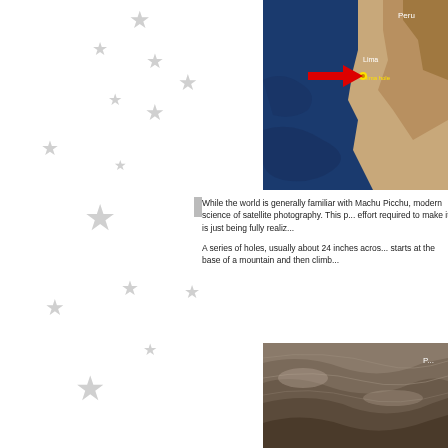[Figure (map): Satellite/map view showing Peru coastline with Lima labeled, ocean in dark blue, a red arrow pointing to a location labeled 'lima hole' marked with a yellow pin]
While the world is generally familiar with Machu Picchu, modern science of satellite photography. This p... effort required to make it is just being fully realiz...
A series of holes, usually about 24 inches acros... starts at the base of a mountain and then climb...
[Figure (photo): Aerial/satellite photo showing terrain with what appears to be holes or marks on a mountainside]